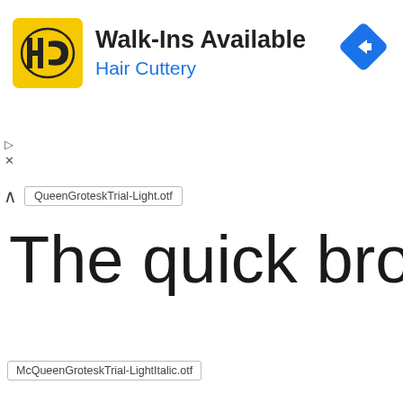[Figure (other): Hair Cuttery advertisement banner with yellow HC logo, 'Walk-Ins Available' text, 'Hair Cuttery' subtitle in blue, and a blue navigation diamond icon on the right.]
QueenGroteskTrial-Light.otf
The quick brown fo
McQueenGroteskTrial-LightItalic.otf
The quick brown fo
McQueenGroteskTrial-Medium.otf